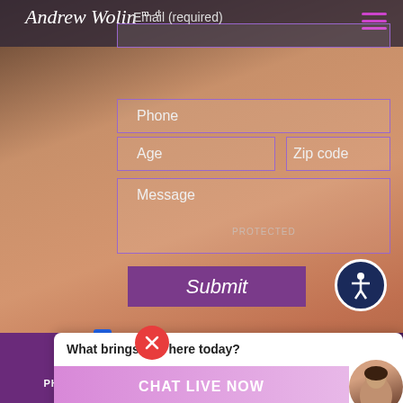[Figure (screenshot): Andrew Wolin M.D. medical practice website screenshot showing a contact form with fields for Email (required), Phone, Age, Zip code, Message, a Submit button, accessibility icon, Receive Specials & Promos checkbox, a chat popup asking 'What brings you here today?' with CHAT LIVE NOW button, a close (X) button overlay, and bottom navigation with PHOTOS, CALL, EMAIL tabs.]
Andrew Wolin m.d.
Email (required)
Phone
Age
Zip code
Message
Submit
Receive Specials & Promos
PROTECTED
What brings you here today?
CHAT LIVE NOW
PHOTOS  CALL  EMAIL